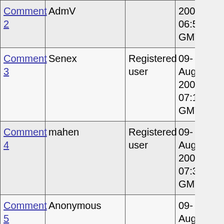| Comment 2 | AdmV |  | 2003 06:58 GMT |
| Comment 3 | Senex | Registered user | 09-Aug-2003 07:11 GMT |
| Comment 4 | mahen | Registered user | 09-Aug-2003 07:30 GMT |
| Comment 5 | Anonymous |  | 09-Aug-2003 07:37 GMT |
| Comment 6 | mark |  | 09-Aug-2003 07:53 GMT |
| Comment 7 |  |  | 09- |